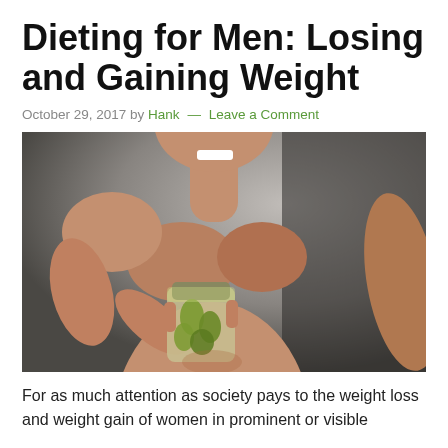Dieting for Men: Losing and Gaining Weight
October 29, 2017 by Hank — Leave a Comment
[Figure (photo): A muscular shirtless man straining to open a glass jar of pickles, photographed dramatically against a grey background.]
For as much attention as society pays to the weight loss and weight gain of women in prominent or visible